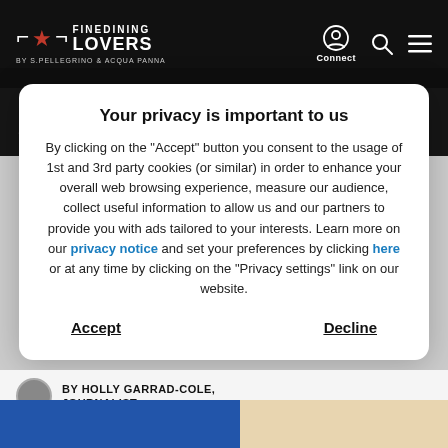FINEDINING LOVERS BY S.PELLEGRINO & ACQUA PANNA
Your privacy is important to us
By clicking on the "Accept" button you consent to the usage of 1st and 3rd party cookies (or similar) in order to enhance your overall web browsing experience, measure our audience, collect useful information to allow us and our partners to provide you with ads tailored to your interests. Learn more on our privacy notice and set your preferences by clicking here or at any time by clicking on the "Privacy settings" link on our website.
Accept   Decline
BY HOLLY GARRAD-COLE, JOURNALIST
29 September, 2016